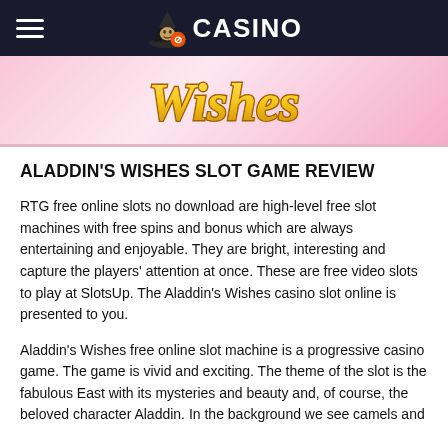CASINO
[Figure (illustration): Banner image showing 'Wishes' text in gold/yellow stylized font on a pink background, partial view of Aladdin's Wishes slot game banner]
ALADDIN'S WISHES SLOT GAME REVIEW
RTG free online slots no download are high-level free slot machines with free spins and bonus which are always entertaining and enjoyable. They are bright, interesting and capture the players' attention at once. These are free video slots to play at SlotsUp. The Aladdin's Wishes casino slot online is presented to you.
Aladdin's Wishes free online slot machine is a progressive casino game. The game is vivid and exciting. The theme of the slot is the fabulous East with its mysteries and beauty and, of course, the beloved character Aladdin. In the background we see camels and